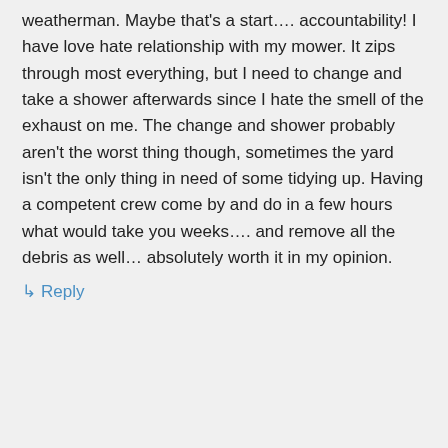weatherman. Maybe that's a start…. accountability! I have love hate relationship with my mower. It zips through most everything, but I need to change and take a shower afterwards since I hate the smell of the exhaust on me. The change and shower probably aren't the worst thing though, sometimes the yard isn't the only thing in need of some tidying up. Having a competent crew come by and do in a few hours what would take you weeks…. and remove all the debris as well… absolutely worth it in my opinion.
↳ Reply